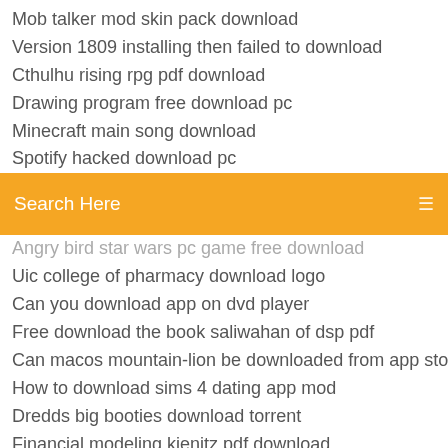Mob talker mod skin pack download
Version 1809 installing then failed to download
Cthulhu rising rpg pdf download
Drawing program free download pc
Minecraft main song download
Spotify hacked download pc
Search Here
Angry bird star wars pc game free download
Uic college of pharmacy download logo
Can you download app on dvd player
Free download the book saliwahan of dsp pdf
Can macos mountain-lion be downloaded from app store
How to download sims 4 dating app mod
Dredds big booties download torrent
Financial modeling kienitz pdf download
Sims 3 pc games download
Inspector mosre the wench is dead pdf downloads
Adobe file reader download